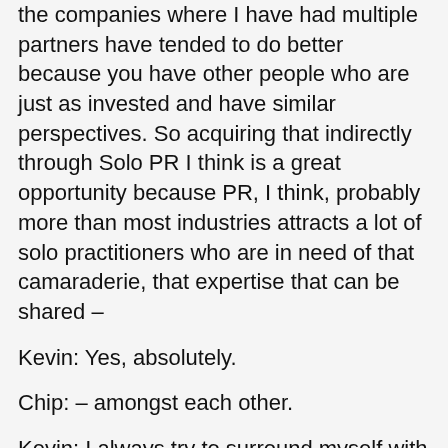the companies where I have had multiple partners have tended to do better because you have other people who are just as invested and have similar perspectives. So acquiring that indirectly through Solo PR I think is a great opportunity because PR, I think, probably more than most industries attracts a lot of solo practitioners who are in need of that camaraderie, that expertise that can be shared –
Kevin: Yes, absolutely.
Chip: – amongst each other.
Kevin: I always try to surround myself with people who are a bit more experienced and have a bit more knowledge than some of the things that I would like to do just so I can learn from them. I think Solo PR Pro allows that as well as this